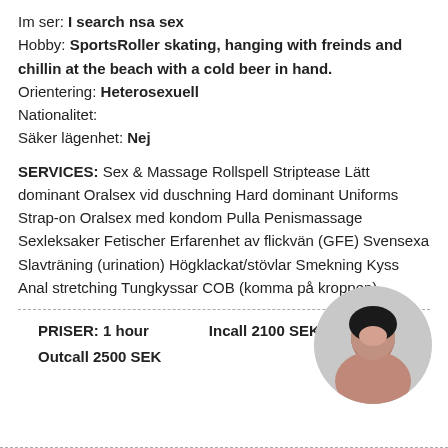Im ser: I search nsa sex
Hobby: SportsRoller skating, hanging with freinds and chillin at the beach with a cold beer in hand.
Orientering: Heterosexuell
Nationalitet:
Säker lägenhet: Nej
SERVICES: Sex & Massage Rollspell Striptease Lätt dominant Oralsex vid duschning Hard dominant Uniforms Strap-on Oralsex med kondom Pulla Penismassage Sexleksaker Fetischer Erfarenhet av flickvän (GFE) Svensexa Slavträning (urination) Högklackat/stövlar Smekning Kyss Anal stretching Tungkyssar COB (komma på kroppen)
PRISER: 1 hour   Incall 2100 SEK   Outcall 2500 SEK
[Figure (photo): Circular cropped photo of a woman]